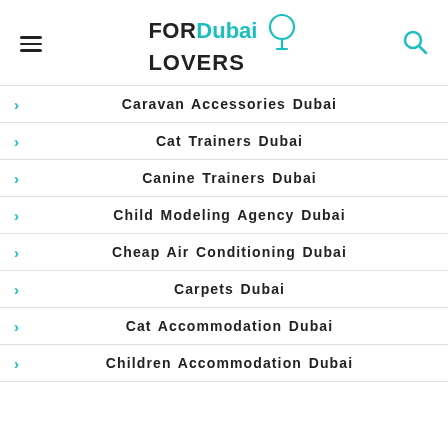FOR Dubai LOVERS
Caravan Accessories Dubai
Cat Trainers Dubai
Canine Trainers Dubai
Child Modeling Agency Dubai
Cheap Air Conditioning Dubai
Carpets Dubai
Cat Accommodation Dubai
Children Accommodation Dubai